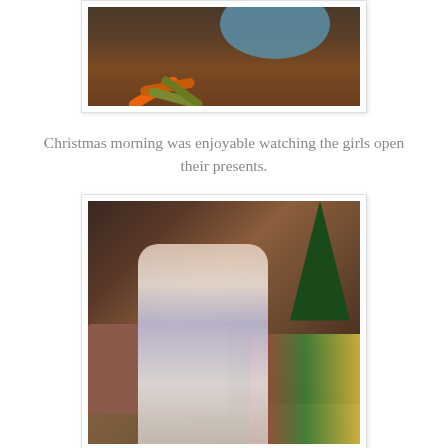[Figure (photo): Top portion of a photo showing a blue bowl with colorful items (carrots/sticks) arranged on a brown surface, photo is cropped at the top]
Christmas morning was enjoyable watching the girls open their presents.
[Figure (photo): Photo of two girls in Christmas pajamas opening presents near a Christmas tree, with a couch and many wrapped gifts visible in the background]
Then it was off to church where we watched the girls sing in